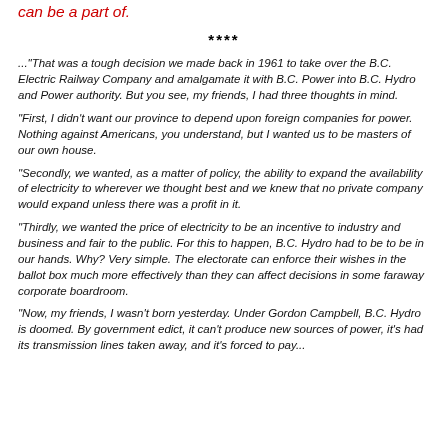can be a part of.
****
..."That was a tough decision we made back in 1961 to take over the B.C. Electric Railway Company and amalgamate it with B.C. Power into B.C. Hydro and Power authority. But you see, my friends, I had three thoughts in mind.
"First, I didn't want our province to depend upon foreign companies for power. Nothing against Americans, you understand, but I wanted us to be masters of our own house.
"Secondly, we wanted, as a matter of policy, the ability to expand the availability of electricity to wherever we thought best and we knew that no private company would expand unless there was a profit in it.
"Thirdly, we wanted the price of electricity to be an incentive to industry and business and fair to the public. For this to happen, B.C. Hydro had to be to be in our hands. Why? Very simple. The electorate can enforce their wishes in the ballot box much more effectively than they can affect decisions in some faraway corporate boardroom.
"Now, my friends, I wasn't born yesterday. Under Gordon Campbell, B.C. Hydro is doomed. By government edict, it can't produce new sources of power, it's had its transmission lines taken away, and it's forced to pay...